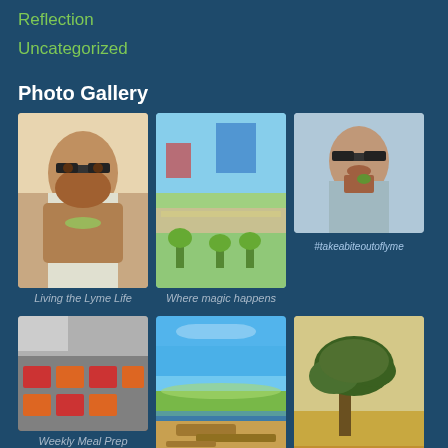Reflection
Uncategorized
Photo Gallery
[Figure (photo): Selfie of bearded man with glasses indoors]
[Figure (photo): Waterfront park area with walkway, trees, and blue sky]
[Figure (photo): Selfie of bearded man with glasses eating something green]
Living the Lyme Life
Where magic happens
#takeabiteoutoflyme
[Figure (photo): Kitchen counter with meal prep containers]
[Figure (photo): Beach/lake scene with blue sky and driftwood]
[Figure (photo): Large tree in dry field with text 'Fell years ago']
Weekly Meal Prep
Fell years ago